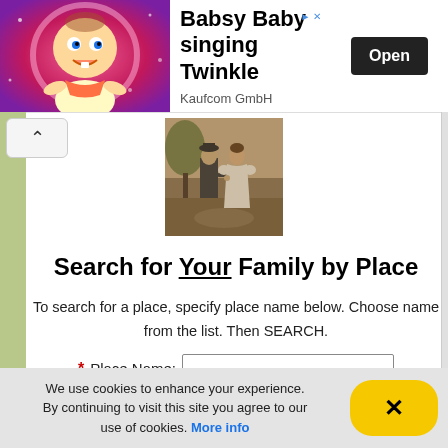[Figure (other): Advertisement banner: animated baby character on pink/purple background, text 'Babsy Baby singing Twinkle', Kaufcom GmbH, Open button]
[Figure (photo): Vintage sepia-toned photo of a couple (man and woman) standing together outdoors]
Search for Your Family by Place
To search for a place, specify place name below. Choose name from the list. Then SEARCH.
* Place Name: [input field]
We use cookies to enhance your experience. By continuing to visit this site you agree to our use of cookies. More info